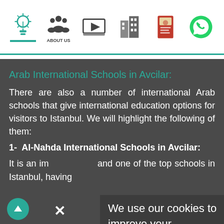[Figure (screenshot): Website navigation bar with icons: lightbulb (active, teal underline), About Us (people icon), video/play icon, buildings icon, passport icon, WhatsApp icon]
Arab International Schools in Avcilar:
There are also a number of international Arab schools that give international education options for visitors to Istanbul. We will highlight the following of them:
1- Al-Nahda International Schools in Avcilar:
It is an important and one of the top schools in Istanbul, having
We use our cookies to improve your connection experience to the information you search for. By continuing to use our site, we will assume that you are satisfied with it Terms of use .